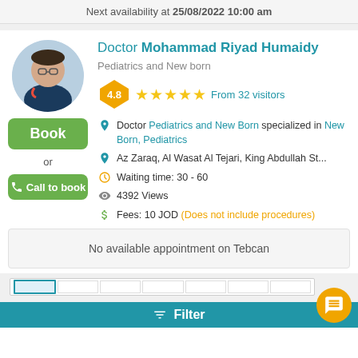Next availability at 25/08/2022 10:00 am
Doctor Mohammad Riyad Humaidy
Pediatrics and New born
4.8 ★★★★★ From 32 visitors
Doctor Pediatrics and New Born specialized in New Born, Pediatrics
Az Zaraq, Al Wasat Al Tejari, King Abdullah St...
Waiting time: 30 - 60
4392 Views
Fees: 10 JOD (Does not include procedures)
No available appointment on Tebcan
Filter